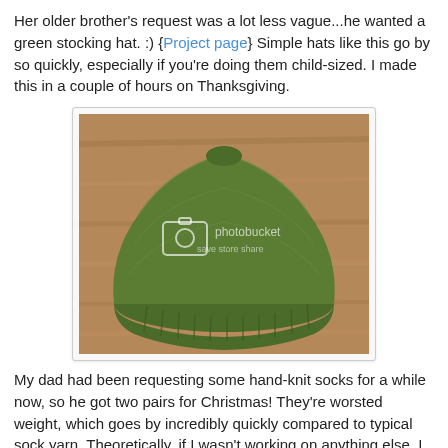Her older brother's request was a lot less vague...he wanted a green stocking hat. :) {Project page} Simple hats like this go by so quickly, especially if you're doing them child-sized. I made this in a couple of hours on Thanksgiving.
[Figure (photo): A green hand-knitted stocking hat/beanie lying on a wooden surface. The hat has visible ribbing at the brim and stockinette stitch on the body. A photobucket watermark is visible over the image.]
My dad had been requesting some hand-knit socks for a while now, so he got two pairs for Christmas! They're worsted weight, which goes by incredibly quickly compared to typical sock yarn. Theoretically, if I wasn't working on anything else, I could finish a pair in 4 days, while regular